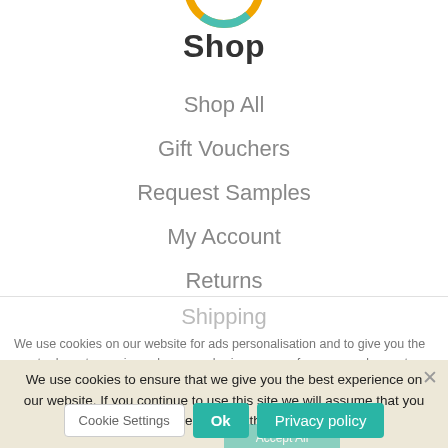[Figure (logo): Partial circular logo in orange/yellow at top center]
Shop
Shop All
Gift Vouchers
Request Samples
My Account
Returns
Shipping
We use cookies on our website for ads personalisation and to give you the most relevant experience by remembering your preferences and repeat visits. . By clicking “Accept All”, you consent to the use of ALL the cookies. However, you may visit “Cookie Settings” to provide a controlled consent.
We use cookies to ensure that we give you the best experience on our website. If you continue to use this site we will assume that you are happy with it.
Cookie Settings
Ok
Privacy policy